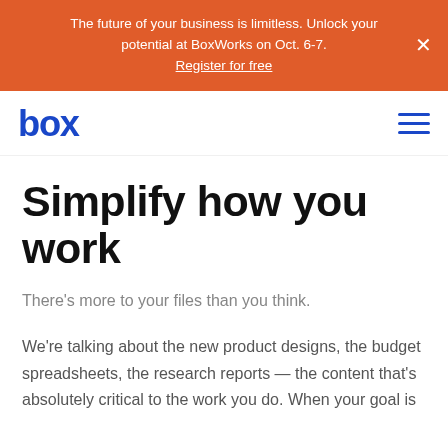The future of your business is limitless. Unlock your potential at BoxWorks on Oct. 6-7. Register for free
[Figure (logo): Box logo in blue and hamburger menu icon]
Simplify how you work
There’s more to your files than you think.
We’re talking about the new product designs, the budget spreadsheets, the research reports — the content that’s absolutely critical to the work you do. When your goal is